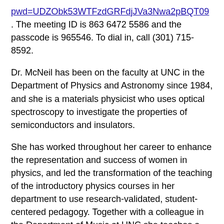pwd=UDZObk53WTFzdGRFdjJVa3Nwa2pBQT09 . The meeting ID is 863 6472 5586 and the passcode is 965546. To dial in, call (301) 715-8592.
Dr. McNeil has been on the faculty at UNC in the Department of Physics and Astronomy since 1984, and she is a materials physicist who uses optical spectroscopy to investigate the properties of semiconductors and insulators.
She has worked throughout her career to enhance the representation and success of women in physics, and led the transformation of the teaching of the introductory physics courses in her department to use research-validated, student-centered pedagogy. Together with a colleague in the Department of Music at UNC she teaches a course for first-year undergraduates on the physics of